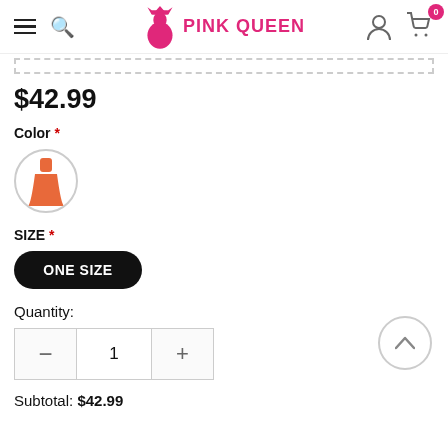PINK QUEEN
$42.99
Color *
[Figure (illustration): Orange/coral color dress swatch circle]
SIZE *
ONE SIZE
Quantity:
- 1 +
Subtotal: $42.99